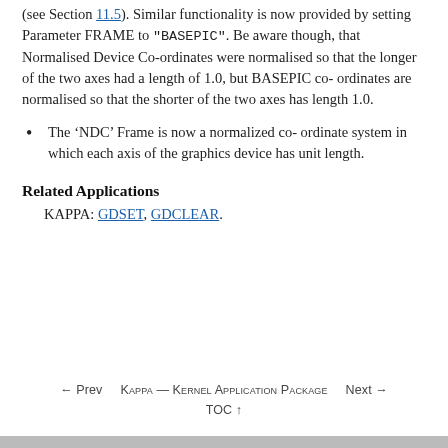(see Section 11.5). Similar functionality is now provided by setting Parameter FRAME to "BASEPIC". Be aware though, that Normalised Device Co-ordinates were normalised so that the longer of the two axes had a length of 1.0, but BASEPIC co-ordinates are normalised so that the shorter of the two axes has length 1.0.
The ‘NDC’ Frame is now a normalized co-ordinate system in which each axis of the graphics device has unit length.
Related Applications
KAPPA: GDSET, GDCLEAR.
← Prev   KAPPA — Kernel Application Package   Next →
TOC ↑